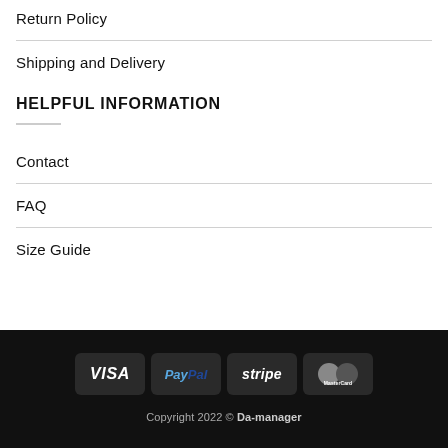Return Policy
Shipping and Delivery
HELPFUL INFORMATION
Contact
FAQ
Size Guide
[Figure (other): Payment method icons: VISA, PayPal, stripe, MasterCard on dark background]
Copyright 2022 © Da-manager